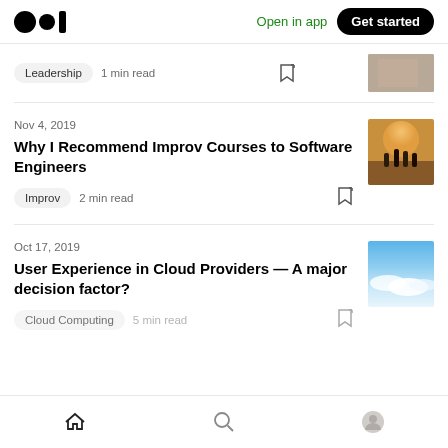Medium logo | Open in app | Get started
Leadership · 1 min read
Nov 4, 2019
Why I Recommend Improv Courses to Software Engineers
Improv · 2 min read
Oct 17, 2019
User Experience in Cloud Providers — A major decision factor?
Home | Search | Profile